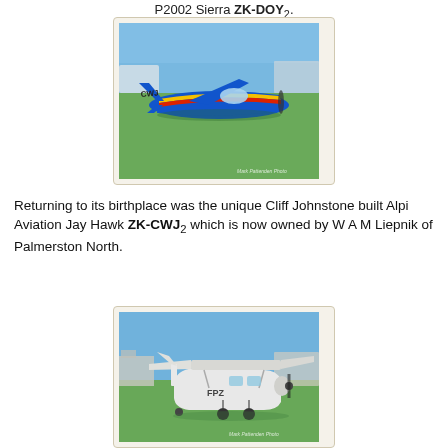P2002 Sierra ZK-DOY2.
[Figure (photo): Photo of Alpi Aviation Jay Hawk ZK-CWJ aircraft on grass airfield, blue and yellow with red stripe livery. Watermark: Mark Pattenden Photo]
Returning to its birthplace was the unique Cliff Johnstone built Alpi Aviation Jay Hawk ZK-CWJ2 which is now owned by W A M Liepnik of Palmerston North.
[Figure (photo): Photo of DHC 2 Beaver ZK-FPZ aircraft on grass airfield, white high-wing with tailwheel. Watermark: Mark Pattenden Photo]
And over from Taupo was the Venture Aviation Ltd owned DHC 2 Beaver ZK-FPZ.  Nice!